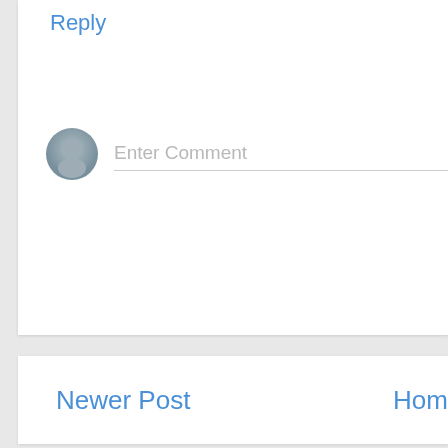Reply
[Figure (illustration): Grey avatar/user profile icon circle]
Enter Comment
Newer Post
Home
Subscribe to: Post Co